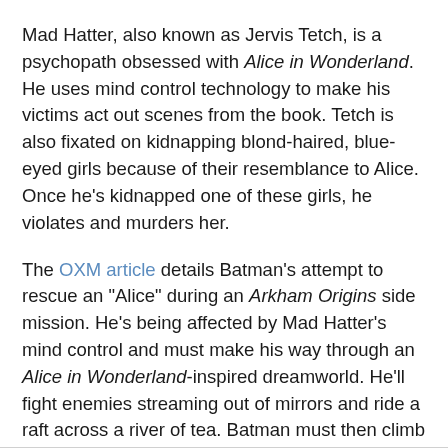Mad Hatter, also known as Jervis Tetch, is a psychopath obsessed with Alice in Wonderland. He uses mind control technology to make his victims act out scenes from the book. Tetch is also fixated on kidnapping blond-haired, blue-eyed girls because of their resemblance to Alice. Once he's kidnapped one of these girls, he violates and murders her.
The OXM article details Batman's attempt to rescue an "Alice" during an Arkham Origins side mission. He's being affected by Mad Hatter's mind control and must make his way through an Alice in Wonderland-inspired dreamworld. He'll fight enemies streaming out of mirrors and ride a raft across a river of tea. Batman must then climb a clocktower in order to finally confront the Hatter and save the girl.